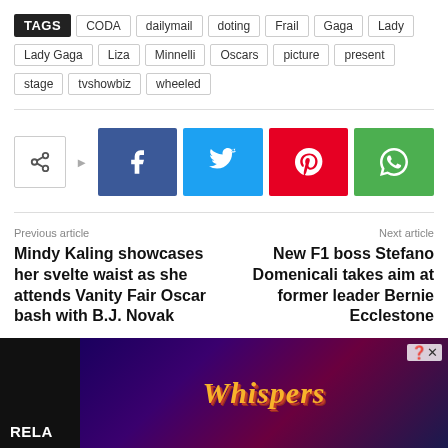TAGS CODA dailymail doting Frail Gaga Lady Lady Gaga Liza Minnelli Oscars picture present stage tvshowbiz wheeled
[Figure (infographic): Social share buttons: share icon, Facebook, Twitter, Pinterest, WhatsApp]
Previous article
Mindy Kaling showcases her svelte waist as she attends Vanity Fair Oscar bash with B.J. Novak
Next article
New F1 boss Stefano Domenicali takes aim at former leader Bernie Ecclestone
[Figure (photo): Advertisement banner showing the Whispers game with romantic illustrated characters]